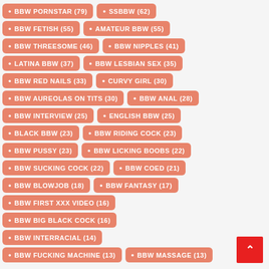BBW PORNSTAR (79)
SSBBW (62)
BBW FETISH (55)
AMATEUR BBW (55)
BBW THREESOME (46)
BBW NIPPLES (41)
LATINA BBW (37)
BBW LESBIAN SEX (35)
BBW RED NAILS (33)
CURVY GIRL (30)
BBW AUREOLAS ON TITS (30)
BBW ANAL (28)
BBW INTERVIEW (25)
ENGLISH BBW (25)
BLACK BBW (23)
BBW RIDING COCK (23)
BBW PUSSY (23)
BBW LICKING BOOBS (22)
BBW SUCKING COCK (22)
BBW COED (21)
BBW BLOWJOB (18)
BBW FANTASY (17)
BBW FIRST XXX VIDEO (16)
BBW BIG BLACK COCK (16)
BBW INTERRACIAL (14)
BBW FUCKING MACHINE (13)
BBW MASSAGE (13)